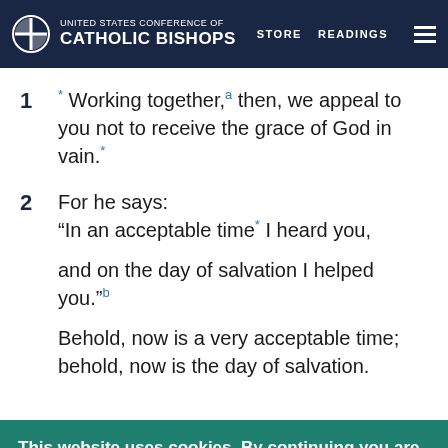United States Conference of Catholic Bishops | STORE | READINGS
1 * Working together,a then, we appeal to you not to receive the grace of God in vain.*
2 For he says: “In an acceptable time* I heard you, and on the day of salvation I helped you.”b Behold, now is a very acceptable time; behold, now is the day of salvation.
This website uses cookies. By continuing you are agreeing to our Privacy Policy
CLOSE X